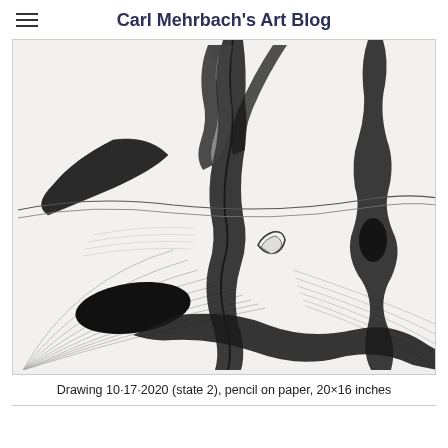Carl Mehrbach's Art Blog
[Figure (illustration): Pencil drawing showing abstract organic forms with curved, intertwining dark shapes resembling snake-like or plant-like figures on a hatched landscape background. The drawing features radiating curved lines in the lower portion and dark bulbous shapes connected by sinuous lines.]
Drawing 10-17-2020 (state 2), pencil on paper, 20x16 inches